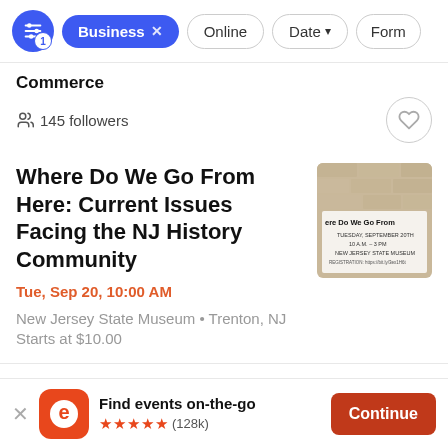Business × | Online | Date ▾ | Form
Commerce
145 followers
Where Do We Go From Here: Current Issues Facing the NJ History Community
Tue, Sep 20, 10:00 AM
New Jersey State Museum • Trenton, NJ
Starts at $10.00
[Figure (photo): Event flyer thumbnail showing 'Where Do We Go From Here' text with event details: Tuesday September 20th, 10 a.m. - 3 pm, New Jersey State Museum]
Find events on-the-go
★★★★★ (128k)
Continue